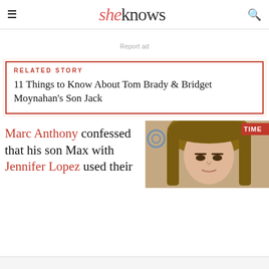sheknows
Report ad
RELATED STORY
11 Things to Know About Tom Brady & Bridget Moynahan's Son Jack
Marc Anthony confessed that his son Max with Jennifer Lopez used their
[Figure (photo): Photo of Jennifer Lopez at an event, with a TIME magazine logo partially visible in the background]